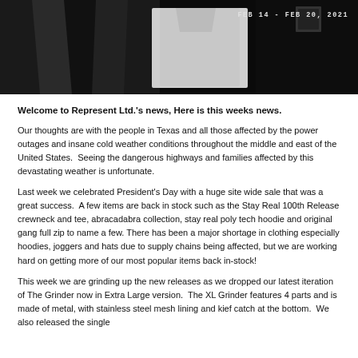[Figure (photo): Dark hero image showing what appears to be clothing/apparel items on a black background, with a date badge reading FEB 14 - FEB 20, 2021 in the upper right corner.]
Welcome to Represent Ltd.'s news, Here is this weeks news.
Our thoughts are with the people in Texas and all those affected by the power outages and insane cold weather conditions throughout the middle and east of the United States.  Seeing the dangerous highways and families affected by this devastating weather is unfortunate.
Last week we celebrated President's Day with a huge site wide sale that was a great success.  A few items are back in stock such as the Stay Real 100th Release crewneck and tee, abracadabra collection, stay real poly tech hoodie and original gang full zip to name a few. There has been a major shortage in clothing especially hoodies, joggers and hats due to supply chains being affected, but we are working hard on getting more of our most popular items back in-stock!
This week we are grinding up the new releases as we dropped our latest iteration of The Grinder now in Extra Large version.  The XL Grinder features 4 parts and is made of metal, with stainless steel mesh lining and kief catch at the bottom.  We also released the single...